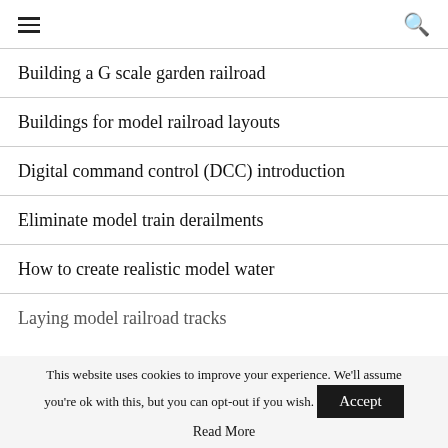≡  🔍
Building a G scale garden railroad
Buildings for model railroad layouts
Digital command control (DCC) introduction
Eliminate model train derailments
How to create realistic model water
Laying model railroad tracks
This website uses cookies to improve your experience. We'll assume you're ok with this, but you can opt-out if you wish.
Accept
Read More